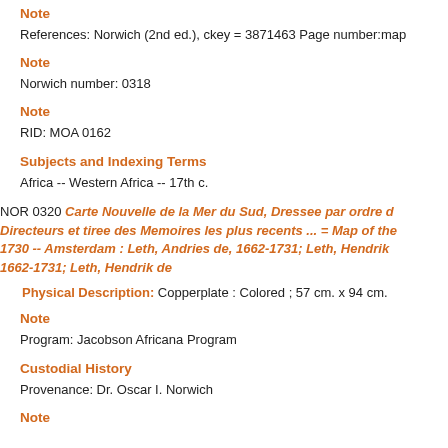Note
References: Norwich (2nd ed.), ckey = 3871463 Page number:map
Note
Norwich number: 0318
Note
RID: MOA 0162
Subjects and Indexing Terms
Africa -- Western Africa -- 17th c.
NOR 0320 Carte Nouvelle de la Mer du Sud, Dressee par ordre d Directeurs et tiree des Memoires les plus recents ... = Map of the 1730 -- Amsterdam : Leth, Andries de, 1662-1731; Leth, Hendrik 1662-1731; Leth, Hendrik de
Physical Description: Copperplate : Colored ; 57 cm. x 94 cm.
Note
Program: Jacobson Africana Program
Custodial History
Provenance: Dr. Oscar I. Norwich
Note